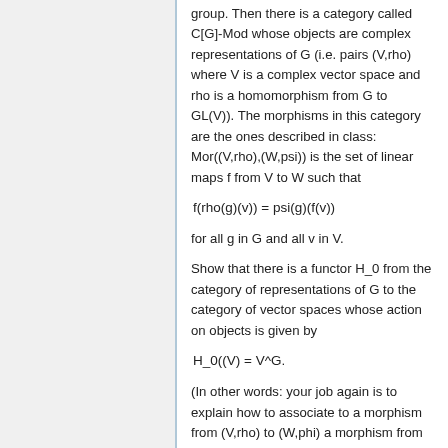group. Then there is a category called C[G]-Mod whose objects are complex representations of G (i.e. pairs (V,rho) where V is a complex vector space and rho is a homomorphism from G to GL(V)). The morphisms in this category are the ones described in class: Mor((V,rho),(W,psi)) is the set of linear maps f from V to W such that
for all g in G and all v in V.
Show that there is a functor H_0 from the category of representations of G to the category of vector spaces whose action on objects is given by
(In other words: your job again is to explain how to associate to a morphism from (V,rho) to (W,phi) a morphism from